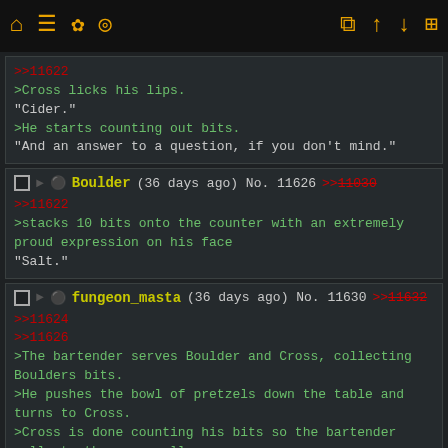[Figure (screenshot): Imageboard/forum thread screenshot with dark theme, toolbar at top with yellow icons, three post blocks with green/red monospace text on dark background]
>>11622
>Cross licks his lips.
"Cider."
>He starts counting out bits.
"And an answer to a question, if you don't mind."
Boulder (36 days ago) No. 11626 >>11030
>>11622
>stacks 10 bits onto the counter with an extremely proud expression on his face
"Salt."
fungeon_masta (36 days ago) No. 11630 >>11632
>>11624
>>11626
>The bartender serves Boulder and Cross, collecting Boulders bits.
>He pushes the bowl of pretzels down the table and turns to Cross.
>Cross is done counting his bits so the bartender collects those as well.
"I don't have anything better to do, shoot"